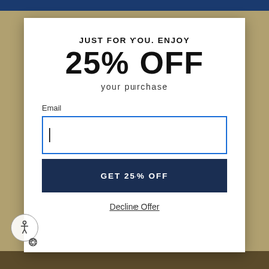[Figure (screenshot): E-commerce promotional popup modal with a 25% off discount offer, email input field, and CTA button on a tan/gold background]
JUST FOR YOU. ENJOY
25% OFF
your purchase
Email
GET 25% OFF
Decline Offer